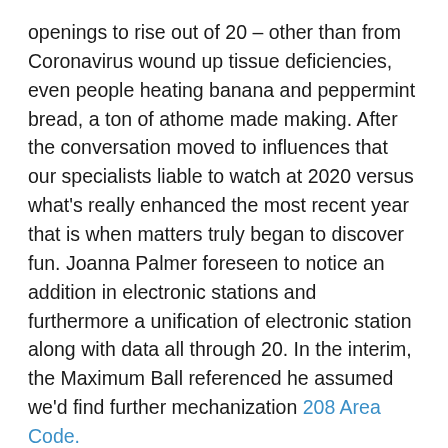openings to rise out of 20 – other than from Coronavirus wound up tissue deficiencies, even people heating banana and peppermint bread, a ton of athome made making. After the conversation moved to influences that our specialists liable to watch at 2020 versus what's really enhanced the most recent year that is when matters truly began to discover fun. Joanna Palmer foreseen to notice an addition in electronic stations and furthermore a unification of electronic station along with data all through 20. In the interim, the Maximum Ball referenced he assumed we'd find further mechanization 208 Area Code. As it showed up into the inclinations which we saw develop on the last schedule year, Joanna said numerous associations have not been prepared to get the buyer cooperation adulthood inside their own assistance habitats to this level they would like, in light of introducing to focus on getting agents set up at home. Via occasion, 48 percent had